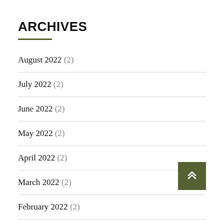ARCHIVES
August 2022 (2)
July 2022 (2)
June 2022 (2)
May 2022 (2)
April 2022 (2)
March 2022 (2)
February 2022 (2)